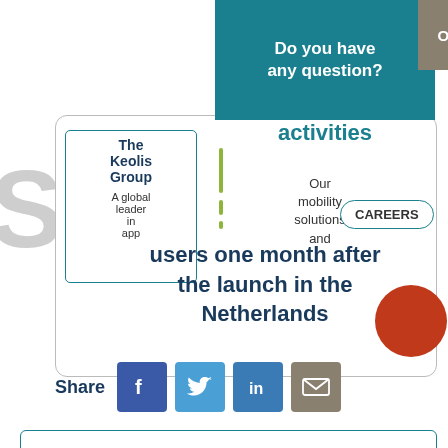Do you have any question?
Ou
The Keolis Group
A global leader in app
activities
Our mobility solutions and
users one month after the launch in the Netherlands
CAREERS
[Figure (illustration): Orange decorative circle]
Share
[Figure (infographic): Social share buttons: Facebook, Twitter, LinkedIn, Email]